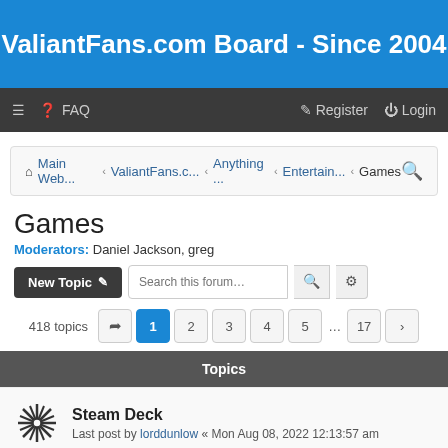ValiantFans.com Board - Since 2004
≡  ❓ FAQ    Register   Login
Main Web...  ‹  ValiantFans.c...  ‹  Anything ...  ‹  Entertain...  ‹  Games
Games
Moderators: Daniel Jackson, greg
New Topic  Search this forum...  418 topics  1 2 3 4 5 ... 17 >
Topics
Steam Deck
Last post by lorddunlow « Mon Aug 08, 2022 12:13:57 am